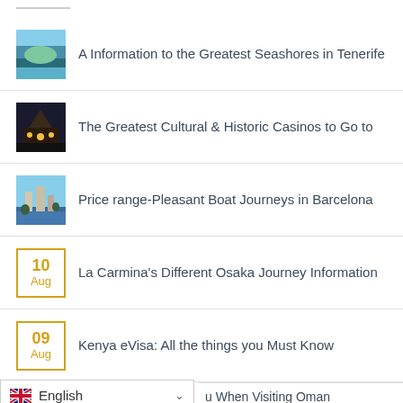A Information to the Greatest Seashores in Tenerife
The Greatest Cultural & Historic Casinos to Go to
Price range-Pleasant Boat Journeys in Barcelona
10 Aug — La Carmina's Different Osaka Journey Information
09 Aug — Kenya eVisa: All the things you Must Know
01 Aug — What to Do in Venice, Italy
When Visiting Oman (partial)
English